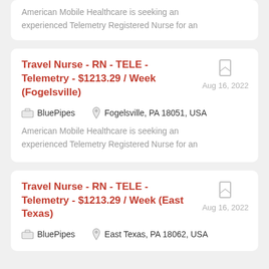American Mobile Healthcare is seeking an experienced Telemetry Registered Nurse for an
Travel Nurse - RN - TELE - Telemetry - $1213.29 / Week (Fogelsville)
Aug 16, 2022
BluePipes
Fogelsville, PA 18051, USA
American Mobile Healthcare is seeking an experienced Telemetry Registered Nurse for an
Travel Nurse - RN - TELE - Telemetry - $1213.29 / Week (East Texas)
Aug 16, 2022
BluePipes
East Texas, PA 18062, USA